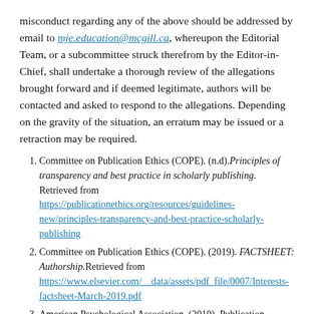misconduct regarding any of the above should be addressed by email to mje.education@mcgill.ca, whereupon the Editorial Team, or a subcommittee struck therefrom by the Editor-in-Chief, shall undertake a thorough review of the allegations brought forward and if deemed legitimate, authors will be contacted and asked to respond to the allegations. Depending on the gravity of the situation, an erratum may be issued or a retraction may be required.
Committee on Publication Ethics (COPE). (n.d).Principles of transparency and best practice in scholarly publishing. Retrieved from https://publicationethics.org/resources/guidelines-new/principles-transparency-and-best-practice-scholarly-publishing
Committee on Publication Ethics (COPE). (2019). FACTSHEET: Authorship.Retrieved from https://www.elsevier.com/__data/assets/pdf_file/0007/Interests-factsheet-March-2019.pdf
American Psychological Association. (2010). Publication Manual of the American...